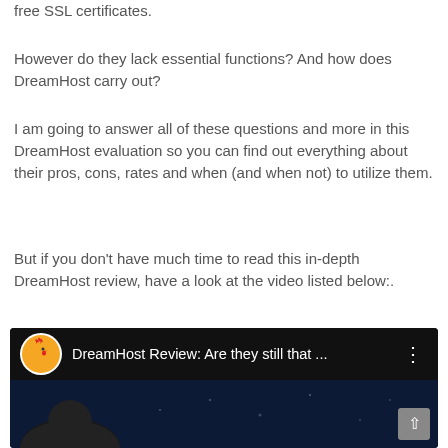free SSL certificates.
However do they lack essential functions? And how does DreamHost carry out?
I am going to answer all of these questions and more in this DreamHost evaluation so you can find out everything about their pros, cons, rates and when (and when not) to utilize them.
But if you don't have much time to read this in-depth DreamHost review, have a look at the video listed below:.
[Figure (screenshot): YouTube video thumbnail showing 'DreamHost Review: Are they still that ...' with a rooster/chicken logo icon on the left and a three-dot menu on the right, dark background with a person's silhouette visible in the lower portion.]